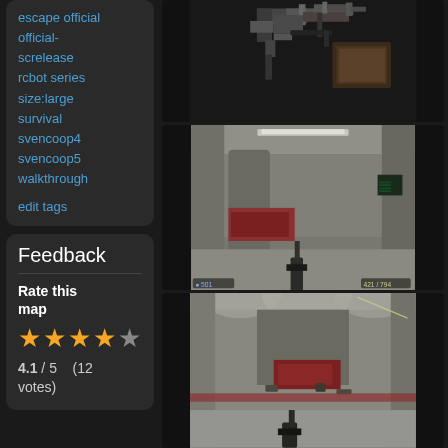escape
official
official-screlease
rcbot
series
size:large
survival
svencoop4
svencoop5
walkthrough
edit tags
Feedback
Rate this map
4.1 / 5   (12 votes)
[Figure (screenshot): Top-down map overview of a game level showing corridors and rooms]
[Figure (screenshot): First-person shooter gameplay screenshot inside a large industrial room, HUD showing 501 health and 421/794 ammo]
[Figure (screenshot): First-person shooter gameplay screenshot in a tunnel/corridor area with combat action]